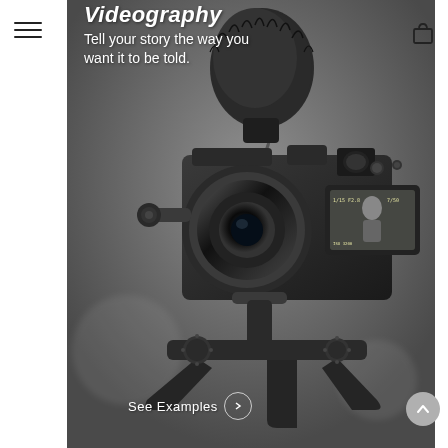[Figure (photo): Black and white photograph of a professional video camera/DSLR on a gimbal rig with a furry microphone on top, showing the camera's LCD screen reflecting the videographer. The image fills most of the page.]
Videography
Tell your story the way you want it to be told.
See Examples